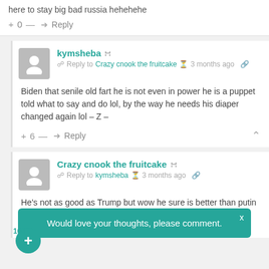here to stay big bad russia hehehehe
+ 0 — Reply
kymsheba
Reply to Crazy cnook the fruitcake  3 months ago
Biden that senile old fart he is not even in power he is a puppet told what to say and do lol, by the way he needs his diaper changed again lol – Z –
+ 6 — Reply
Crazy cnook the fruitcake
Reply to kymsheba  3 months ago
He's not as good as Trump but wow he sure is better than putin and [text obscured] vil russian orc [text obscured] ssian encomey hehe [text obscured] e
Would love your thoughts, please comment.